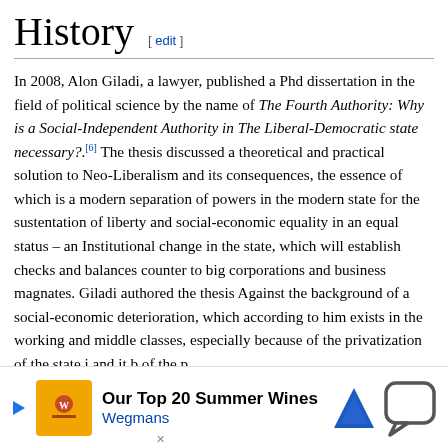History [ edit ]
In 2008, Alon Giladi, a lawyer, published a Phd dissertation in the field of political science by the name of The Fourth Authority: Why is a Social-Independent Authority in The Liberal-Democratic state necessary?.[6] The thesis discussed a theoretical and practical solution to Neo-Liberalism and its consequences, the essence of which is a modern separation of powers in the modern state for the sustentation of liberty and social-economic equality in an equal status – an Institutional change in the state, which will establish checks and balances counter to big corporations and business magnates. Giladi authored the thesis Against the background of a social-economic deterioration, which according to him exists in the working and middle classes, especially because of the privatization of the state institutions, and it became the theoretical foundation of the political activity of the party.
[Figure (infographic): Advertisement overlay: Wegmans 'Our Top 20 Summer Wines' ad with play button, thumbnail, navigation icon, and chat bubble icon]